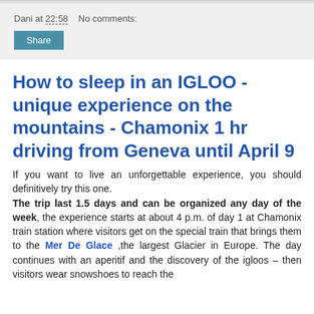Dani at 22:58   No comments:
Share
How to sleep in an IGLOO -unique experience on the mountains - Chamonix 1 hr driving from Geneva until April 9
If you want to live an unforgettable experience, you should definitively try this one. The trip last 1.5 days and can be organized any day of the week, the experience starts at about 4 p.m. of day 1 at Chamonix train station where visitors get on the special train that brings them to the Mer De Glace ,the largest Glacier in Europe. The day continues with an aperitif and the discovery of the igloos – then visitors wear snowshoes to reach the